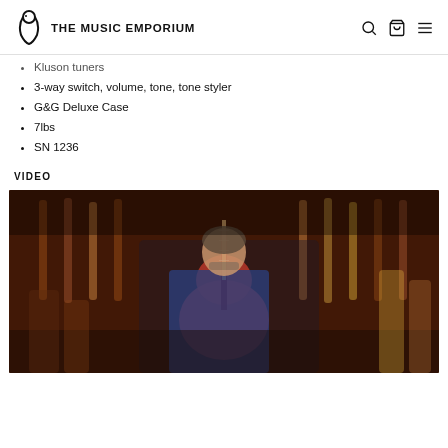THE MUSIC EMPORIUM
Kluson tuners
3-way switch, volume, tone, tone styler
G&G Deluxe Case
7lbs
SN 1236
VIDEO
[Figure (screenshot): YouTube video embed thumbnail showing a man playing a red electric guitar in a guitar store, with video title 'Asher T-Deluxe Trans Cherry Light ...' and a red YouTube play button overlay.]